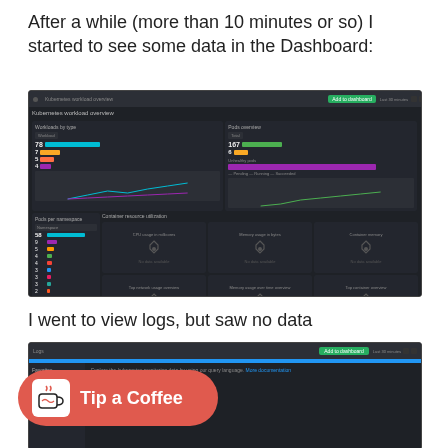After a while (more than 10 minutes or so) I started to see some data in the Dashboard:
[Figure (screenshot): Kubernetes workload overview dashboard screenshot showing dark UI with Workloads by type panel (numbers 78, 7, 5, 4) and Pods overview panel (167, 6), Pods per namespace list, and Container resource utilization panels showing no data available]
I went to view logs, but saw no data
[Figure (screenshot): Partial screenshot of a logging view with blue topbar, sidebar navigation, and main content area with filter bar. Overlaid with a red 'Tip a Coffee' badge button.]